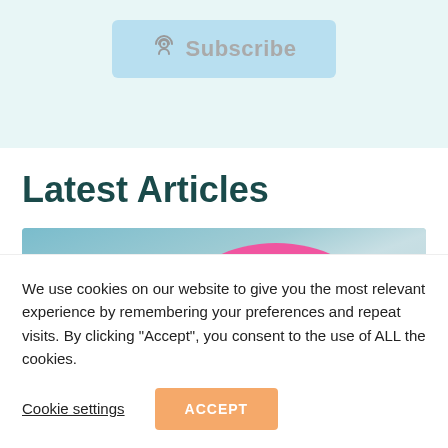[Figure (screenshot): Subscribe button with podcast icon on a light blue/teal background]
Latest Articles
[Figure (photo): Pink umbrella against a rainy water background with an orange NEWS badge]
We use cookies on our website to give you the most relevant experience by remembering your preferences and repeat visits. By clicking “Accept”, you consent to the use of ALL the cookies.
Cookie settings
ACCEPT